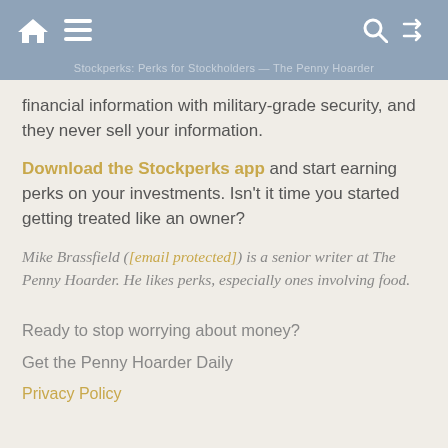Home menu search shuffle — Stockperks: Perks for Stockholders
financial information with military-grade security, and they never sell your information.
Download the Stockperks app and start earning perks on your investments. Isn't it time you started getting treated like an owner?
Mike Brassfield ([email protected]) is a senior writer at The Penny Hoarder. He likes perks, especially ones involving food.
Ready to stop worrying about money?
Get the Penny Hoarder Daily
Privacy Policy